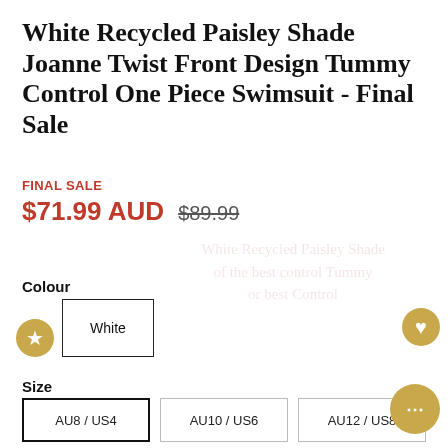White Recycled Paisley Shade Joanne Twist Front Design Tummy Control One Piece Swimsuit - Final Sale
FINAL SALE
$71.99 AUD  $89.99
Colour
White
Size
AU8 / US4
AU10 / US6
AU12 / US8
AU14 / US10
AU16 / US12